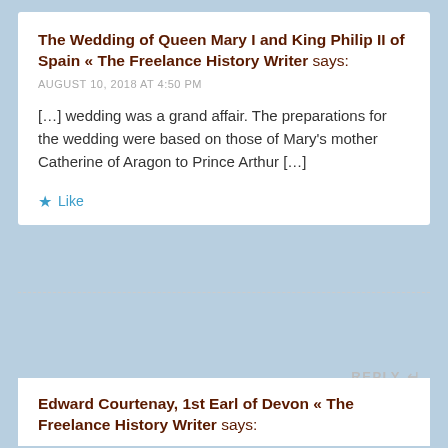The Wedding of Queen Mary I and King Philip II of Spain « The Freelance History Writer says:
AUGUST 10, 2018 AT 4:50 PM
[…] wedding was a grand affair. The preparations for the wedding were based on those of Mary's mother Catherine of Aragon to Prince Arthur […]
★ Like
REPLY ↩
Edward Courtenay, 1st Earl of Devon « The Freelance History Writer says: